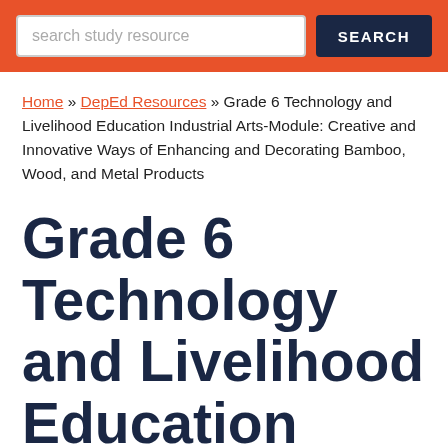search study resource SEARCH
Home » DepEd Resources » Grade 6 Technology and Livelihood Education Industrial Arts-Module: Creative and Innovative Ways of Enhancing and Decorating Bamboo, Wood, and Metal Products
Grade 6 Technology and Livelihood Education